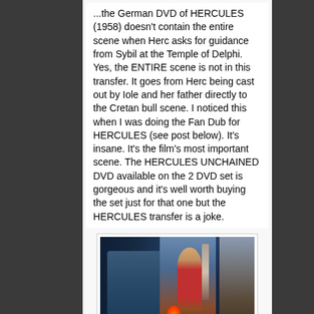...the German DVD of HERCULES (1958) doesn't contain the entire scene when Herc asks for guidance from Sybil at the Temple of Delphi. Yes, the ENTIRE scene is not in this transfer. It goes from Herc being cast out by Iole and her father directly to the Cretan bull scene. I noticed this when I was doing the Fan Dub for HERCULES (see post below). It's insane. It's the film's most important scene. The HERCULES UNCHAINED DVD available on the 2 DVD set is gorgeous and it's well worth buying the set just for that one but the HERCULES transfer is a joke.
[Figure (photo): A screenshot from the 1958 film HERCULES showing a scene at the Temple of Delphi — a woman in a red sari stands between columns near a flame, with dark silhouetted figures in the foreground.]
You won't find this scene in the German DVD of HERCULES.